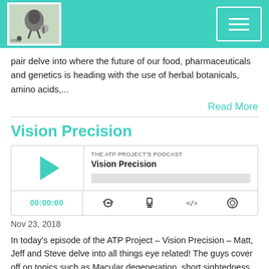[Figure (logo): ATP Project podcast logo with figure and microphone, teal/green header bar with hamburger menu button]
pair delve into where the future of our food, pharmaceuticals and genetics is heading with the use of herbal botanicals, amino acids,...
Read More
Vision Precision
[Figure (other): Podcast player widget showing THE ATP PROJECT'S PODCAST - Vision Precision, with play button, progress bar, time display 00:00:00, and control icons for RSS, download, embed, and share]
Nov 23, 2018
In today's episode of the ATP Project – Vision Precision – Matt, Jeff and Steve delve into all things eye related! The guys cover off on topics such as Macular degeneration, short sightedness, long sightedness and what these two can mean